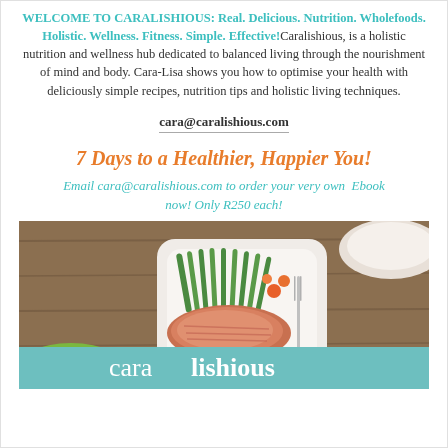WELCOME TO CARALISHIOUS: Real. Delicious. Nutrition. Wholefoods. Holistic. Wellness. Fitness. Simple. Effective! Caralishious, is a holistic nutrition and wellness hub dedicated to balanced living through the nourishment of mind and body. Cara-Lisa shows you how to optimise your health with deliciously simple recipes, nutrition tips and holistic living techniques.
cara@caralishious.com
7 Days to a Healthier, Happier You!
Email cara@caralishious.com to order your very own Ebook now! Only R250 each!
[Figure (photo): Photo of a salmon fillet with green beans on a white square plate on a wooden table, with colorful bowls around it. Below the food photo is a teal banner with the Caralishious logo text.]